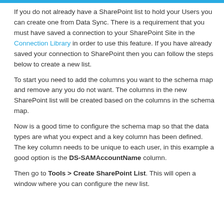If you do not already have a SharePoint list to hold your Users you can create one from Data Sync. There is a requirement that you must have saved a connection to your SharePoint Site in the Connection Library in order to use this feature. If you have already saved your connection to SharePoint then you can follow the steps below to create a new list.
To start you need to add the columns you want to the schema map and remove any you do not want. The columns in the new SharePoint list will be created based on the columns in the schema map.
Now is a good time to configure the schema map so that the data types are what you expect and a key column has been defined. The key column needs to be unique to each user, in this example a good option is the DS-SAMAccountName column.
Then go to Tools > Create SharePoint List. This will open a window where you can configure the new list.